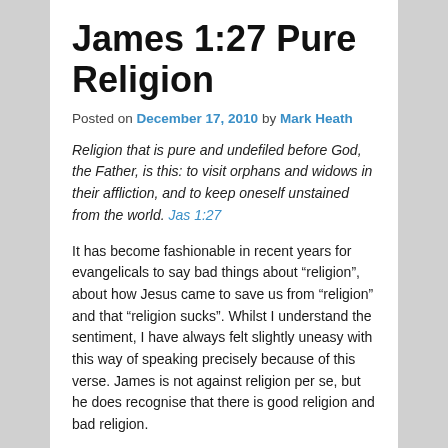James 1:27 Pure Religion
Posted on December 17, 2010 by Mark Heath
Religion that is pure and undefiled before God, the Father, is this: to visit orphans and widows in their affliction, and to keep oneself unstained from the world. Jas 1:27
It has become fashionable in recent years for evangelicals to say bad things about “religion”, about how Jesus came to save us from “religion” and that “religion sucks”. Whilst I understand the sentiment, I have always felt slightly uneasy with this way of speaking precisely because of this verse. James is not against religion per se, but he does recognise that there is good religion and bad religion.
There is a particularly neat balance to James’s brief description of pure religion. It is described positively (what